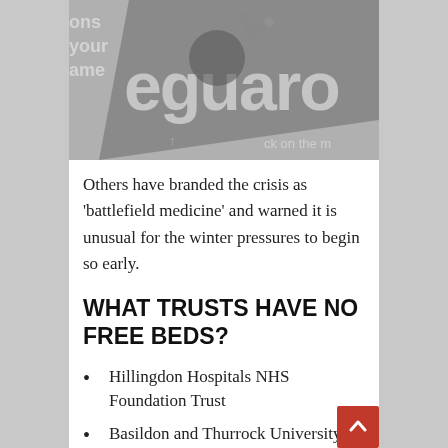[Figure (photo): Grayscale newspaper/magazine image partially showing 'eguard' text and a figure, partially cropped]
Others have branded the crisis as 'battlefield medicine' and warned it is unusual for the winter pressures to begin so early.
WHAT TRUSTS HAVE NO FREE BEDS?
Hillingdon Hospitals NHS Foundation Trust
Basildon and Thurrock University Hospitals NHS Foundation Trust